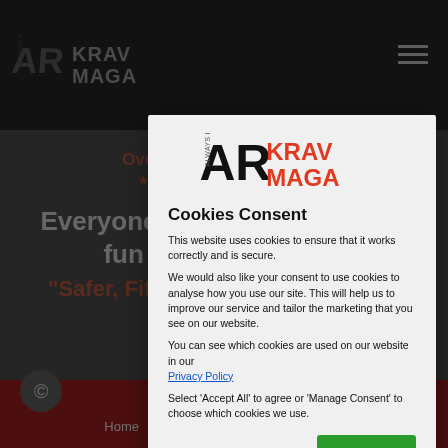[Figure (screenshot): AR Krav Maga website background with dark header, navigation menu, hero text 'Everyone who trusts us, have fun and start to feel Safer, Fitter, Smarter and Always Ready', customer rating section, and dark red footer with Home, Website Terms of Use, Reviews navigation links]
Cookies Consent
This website uses cookies to ensure that it works correctly and is secure.
We would also like your consent to use cookies to analyse how you use our site. This will help us to improve our service and tailor the marketing that you see on our website.
You can see which cookies are used on our website in our Privacy Policy
Select 'Accept All' to agree or 'Manage Consent' to choose which cookies we use.
Manage Consent
Accept All